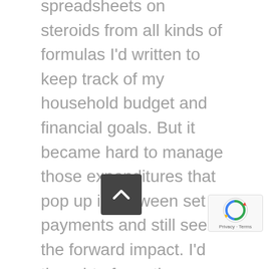spreadsheets on steroids from all kinds of formulas I'd written to keep track of my household budget and financial goals. But it became hard to manage those expenditures that pop up in between set payments and still see the forward impact. I'd thought of creating a calendar myself, but the idea of rewriting formulas was exhausting. So thank you thank you thank you!
One other thing that I'm excited about is that finally my husband and I can be on the same page. He needs to buy unscheduled gas or grab lunch, he can get a snap shot of our